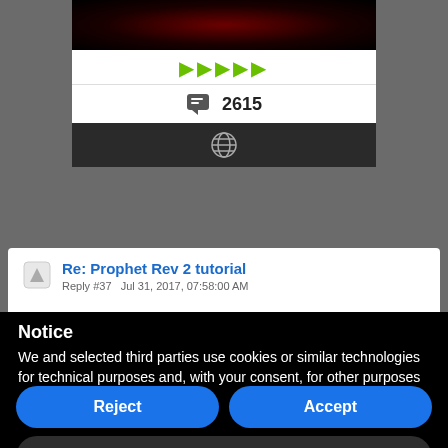[Figure (screenshot): Partial forum page screenshot with user card showing star rating icons and message count 2615, and a post titled 'Re: Prophet Rev 2 tutorial']
Notice
We and selected third parties use cookies or similar technologies for technical purposes and, with your consent, for other purposes as specified in the cookie policy. Denying consent may make related features unavailable.
Reject
Accept
Learn more and customize